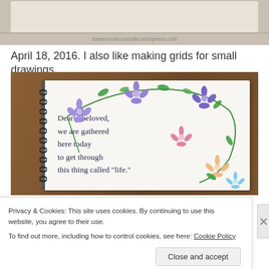[Figure (photo): Top portion of a spread showing decorative stickers/stamps on a light beige surface, partially visible at top of page]
April 18, 2016. I also like making grids for small drawings...
[Figure (photo): A spiral-bound notebook open to a page decorated with hand-drawn colorful flowers (purple, pink, orange, blue) forming a wreath border. Handwritten text reads: 'Dearly beloved, we are gathered here today to get through this thing called "life."' Notebook sits on a wooden surface.]
Privacy & Cookies: This site uses cookies. By continuing to use this website, you agree to their use.
To find out more, including how to control cookies, see here: Cookie Policy